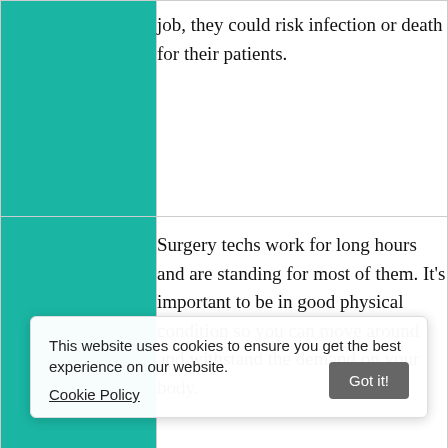| Skill | Description |
| --- | --- |
|  | job, they could risk infection or death for their patients. |
| Stamina | Surgery techs work for long hours and are standing for most of them. It's important to be in good physical condition so you can move around and withstand the demand on your body. |
| Operation | able to endure intense situations and handle pressure that |
This website uses cookies to ensure you get the best experience on our website. Cookie Policy